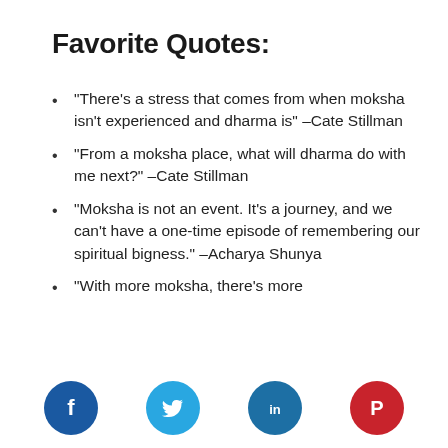Favorite Quotes:
“There’s a stress that comes from when moksha isn’t experienced and dharma is” –Cate Stillman
“From a moksha place, what will dharma do with me next?” –Cate Stillman
“Moksha is not an event. It’s a journey, and we can’t have a one-time episode of remembering our spiritual bigness.” –Acharya Shunya
“With more moksha, there’s more
[Figure (infographic): Social sharing icons row: Facebook (blue circle with f), Twitter (light blue circle with bird), LinkedIn (blue circle with in), Pinterest (red circle with P)]